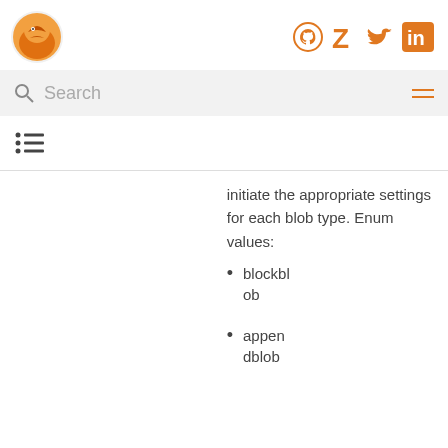[Figure (logo): Orange bird/fox logo]
[Figure (logo): Social media icons: GitHub, Zotero, Twitter, LinkedIn in orange]
Search
[Figure (other): Table of contents icon with list lines]
initiate the appropriate settings for each blob type. Enum values:
blockblob
appendblob